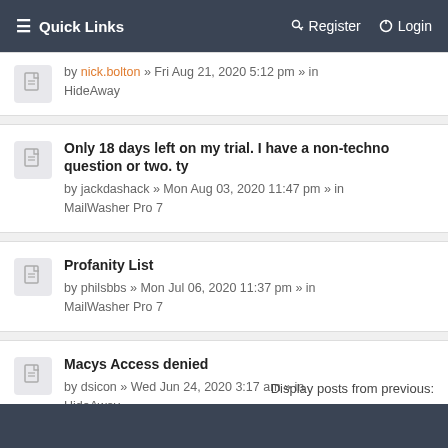≡ Quick Links    Register   Login
by nick.bolton » Fri Aug 21, 2020 5:12 pm » in HideAway
Only 18 days left on my trial. I have a non-techno question or two. ty
by jackdashack » Mon Aug 03, 2020 11:47 pm » in MailWasher Pro 7
Profanity List
by philsbbs » Mon Jul 06, 2020 11:37 pm » in MailWasher Pro 7
Macys Access denied
by dsicon » Wed Jun 24, 2020 3:17 am » in HideAway
Display posts from previous: